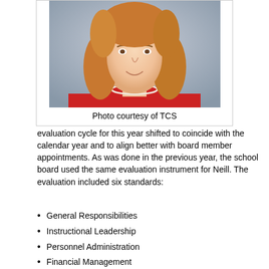[Figure (photo): Portrait photo of a woman with long auburn/blonde hair, wearing a red ruffled top and pearl necklace, gray background]
Photo courtesy of TCS
evaluation cycle for this year shifted to coincide with the calendar year and to align better with board member appointments. As was done in the previous year, the school board used the same evaluation instrument for Neill. The evaluation included six standards:
General Responsibilities
Instructional Leadership
Personnel Administration
Financial Management
Chief Executive Officer
School/Community Relations
The rubric for each standard allowed one rating from high to low in the following categories: